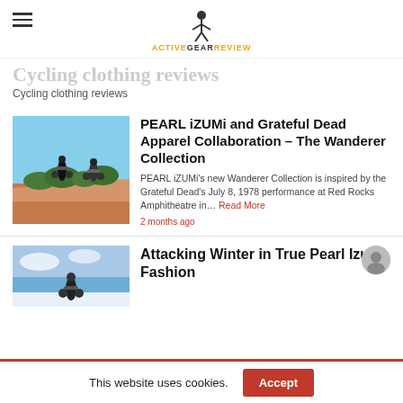ACTIVEGEARREVIEW
Cycling clothing reviews
[Figure (photo): Two mountain bikers riding on a sandy dirt trail with desert shrubs and red rock formations in the background]
PEARL iZUMi and Grateful Dead Apparel Collaboration – The Wanderer Collection
PEARL iZUMi's new Wanderer Collection is inspired by the Grateful Dead's July 8, 1978 performance at Red Rocks Amphitheatre in… Read More
2 months ago
[Figure (photo): Cyclist in winter gear riding in cold, snowy conditions with blue sky]
Attacking Winter in True Pearl Izumi Fashion
This website uses cookies.